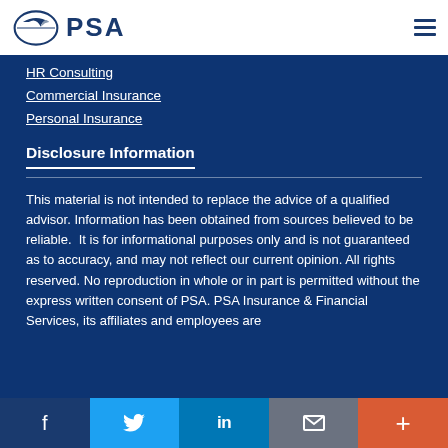[Figure (logo): PSA Insurance logo with circular arrow graphic and PSA text in navy blue]
HR Consulting
Commercial Insurance
Personal Insurance
Disclosure Information
This material is not intended to replace the advice of a qualified advisor. Information has been obtained from sources believed to be reliable.  It is for informational purposes only and is not guaranteed as to accuracy, and may not reflect our current opinion. All rights reserved. No reproduction in whole or in part is permitted without the express written consent of PSA. PSA Insurance & Financial Services, its affiliates and employees are
Social share bar: Facebook, Twitter, LinkedIn, Email, More